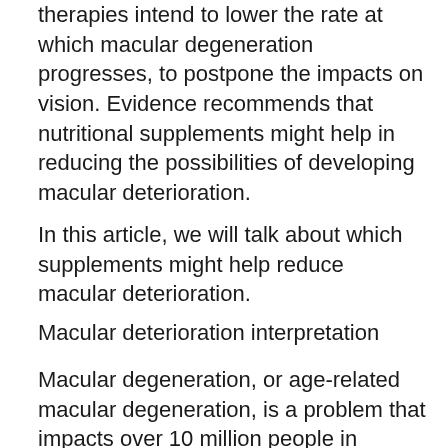therapies intend to lower the rate at which macular degeneration progresses, to postpone the impacts on vision. Evidence recommends that nutritional supplements might help in reducing the possibilities of developing macular deterioration.
In this article, we will talk about which supplements might help reduce macular deterioration.
Macular deterioration interpretation
Macular degeneration, or age-related macular degeneration, is a problem that impacts over 10 million people in America. It is boosting in prevalence, as well as research recommends the condition will certainly